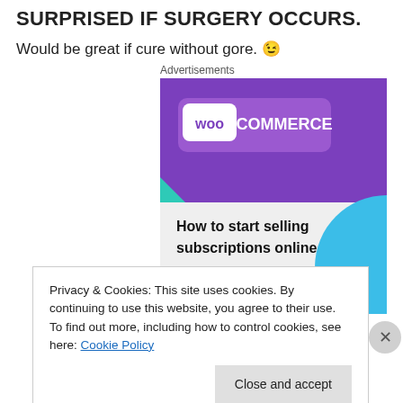SURPRISED IF SURGERY OCCURS.
Would be great if cure without gore. 😉
Advertisements
[Figure (illustration): WooCommerce advertisement banner showing purple header with WooCommerce logo, teal and blue geometric shapes, and text 'How to start selling subscriptions online' with a purple button at the bottom.]
Privacy & Cookies: This site uses cookies. By continuing to use this website, you agree to their use.
To find out more, including how to control cookies, see here: Cookie Policy
Close and accept